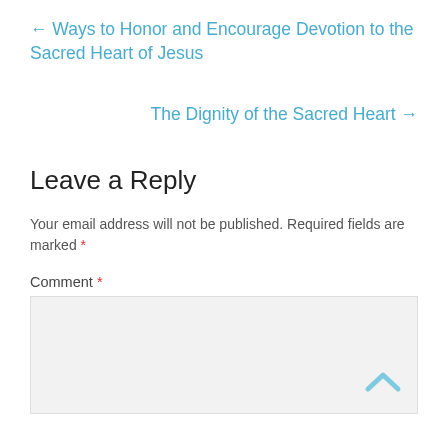← Ways to Honor and Encourage Devotion to the Sacred Heart of Jesus
The Dignity of the Sacred Heart →
Leave a Reply
Your email address will not be published. Required fields are marked *
Comment *